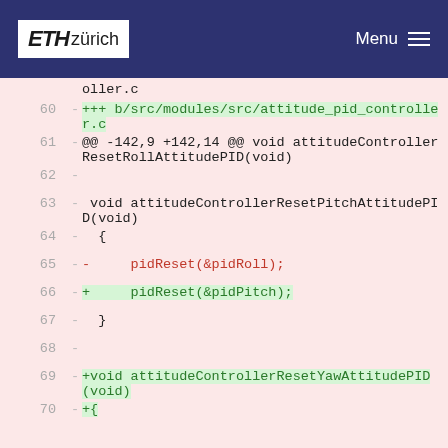ETH zürich  Menu
oller.c
60 - +++ b/src/modules/src/attitude_pid_controller.c
61 - @@ -142,9 +142,14 @@ void attitudeControllerResetRollAttitudePID(void)
62 -
63 -  void attitudeControllerResetPitchAttitudePID(void)
64 - {
65 - -     pidReset(&pidRoll);
66 - +     pidReset(&pidPitch);
67 - }
68 -
69 - +void attitudeControllerResetYawAttitudePID(void)
70 - +{